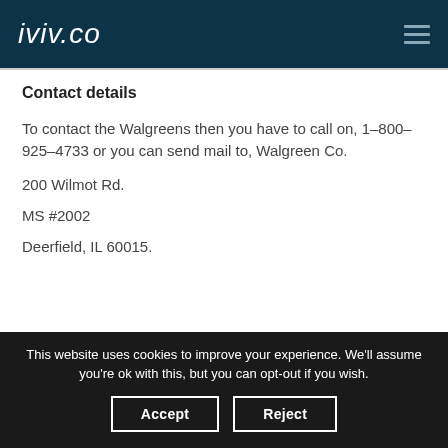iviv.co
Contact details
To contact the Walgreens then you have to call on, 1–800–925–4733 or you can send mail to, Walgreen Co.
200 Wilmot Rd.
MS #2002
Deerfield, IL 60015.
This website uses cookies to improve your experience. We'll assume you're ok with this, but you can opt-out if you wish.